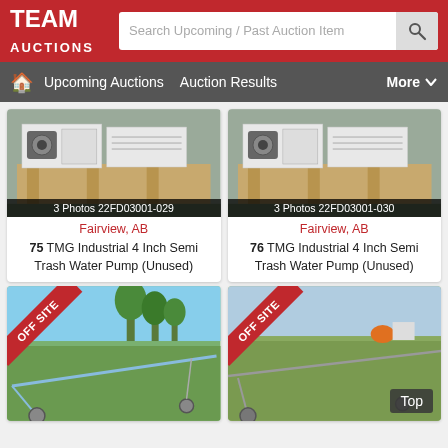[Figure (screenshot): Team Auctions website header with red background, logo, and search bar]
TEAM AUCTIONS | Search Upcoming / Past Auction Items
Upcoming Auctions  Auction Results  More
[Figure (photo): Water pump on wooden pallet, 3 Photos 22FD03001-029]
Fairview, AB
75 TMG Industrial 4 Inch Semi Trash Water Pump (Unused)
[Figure (photo): Water pump on wooden pallet, 3 Photos 22FD03001-030]
Fairview, AB
76 TMG Industrial 4 Inch Semi Trash Water Pump (Unused)
[Figure (photo): OFF SITE - irrigation equipment in field]
[Figure (photo): OFF SITE - irrigation equipment in field, with Top button]